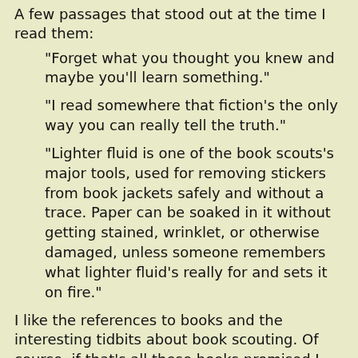A few passages that stood out at the time I read them:
"Forget what you thought you knew and maybe you'll learn something."
"I read somewhere that fiction's the only way you can really tell the truth."
"Lighter fluid is one of the book scouts's major tools, used for removing stickers from book jackets safely and without a trace. Paper can be soaked in it without getting stained, wrinklet, or otherwise damaged, unless someone remembers what lighter fluid's really for and sets it on fire."
I like the references to books and the interesting tidbits about book scouting. Of course, if that's all these books promised I probably wouldn't read anymore. Dunning does a wonderful job of building his characters and developing a thoughtful mystery. I look forward to book 3, The Bookman's Promise.